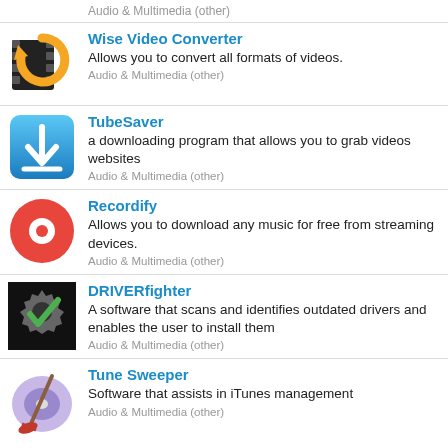Audio & Multimedia (other)
Wise Video Converter – Allows you to convert all formats of videos. Audio & Multimedia (other)
TubeSaver – a downloading program that allows you to grab videos websites. Audio & Multimedia (other)
Recordify – Allows you to download any music for free from streaming devices. Audio & Multimedia (other)
DRIVERfighter – A software that scans and identifies outdated drivers and enables the user to install them. Audio & Multimedia (other)
Tune Sweeper – Software that assists in iTunes management. Audio & Multimedia (other)